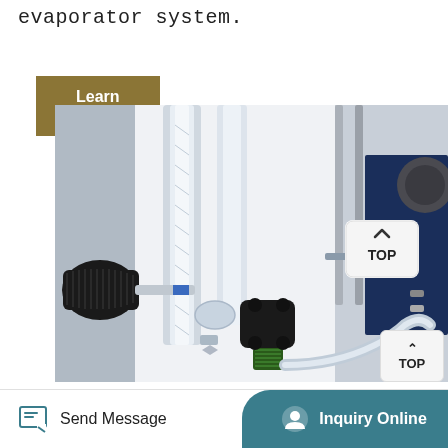evaporator system.
Learn More
[Figure (photo): Close-up photo of a rotary evaporator system showing glass condenser tubes, metal support rods, black knob valve/stopcock, clamp fittings, and glass tubing connections with a TOP navigation button overlay in the upper right corner.]
Send Message
Inquiry Online